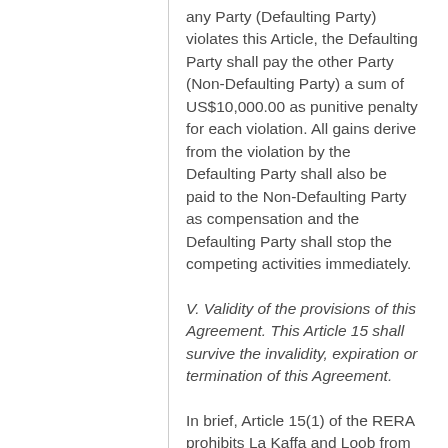any Party (Defaulting Party) violates this Article, the Defaulting Party shall pay the other Party (Non-Defaulting Party) a sum of US$10,000.00 as punitive penalty for each violation. All gains derive from the violation by the Defaulting Party shall also be paid to the Non-Defaulting Party as compensation and the Defaulting Party shall stop the competing activities immediately.
V. Validity of the provisions of this Agreement. This Article 15 shall survive the invalidity, expiration or termination of this Agreement.
In brief, Article 15(1) of the RERA prohibits La Kaffa and Loob from engaging in competing business during the term of the RERA.